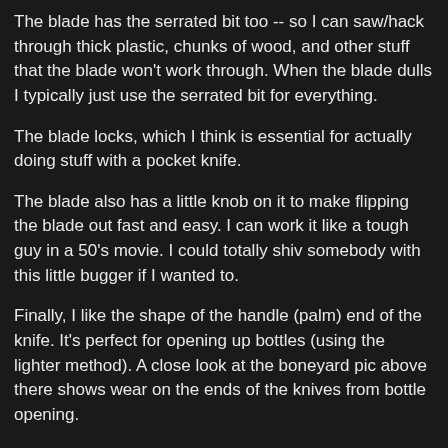The blade has the serrated bit too -- so I can saw/hack through thick plastic, chunks of wood, and other stuff that the blade won't work through. When the blade dulls I typically just use the serrated bit for everything.
The blade locks, which I think is essential for actually doing stuff with a pocket knife.
The blade also has a little knob on it to make flipping the blade out fast and easy. I can work it like a tough guy in a 50's movie. I could totally shiv somebody with this little bugger if I wanted to.
Finally, I like the shape of the handle (palm) end of the knife. It's perfect for opening up bottles (using the lighter method). A close look at the boneyard pic above there shows wear on the ends of the knives from bottle opening.
In the end though, I'm more annoyed than happy with this knife. I've grown to love the features, but it bugs me that I have to buy a new one every few months.